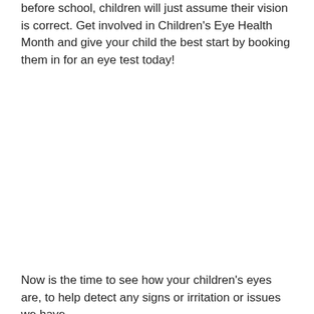before school, children will just assume their vision is correct. Get involved in Children's Eye Health Month and give your child the best start by booking them in for an eye test today!
Now is the time to see how your children's eyes are, to help detect any signs or irritation or issues we have